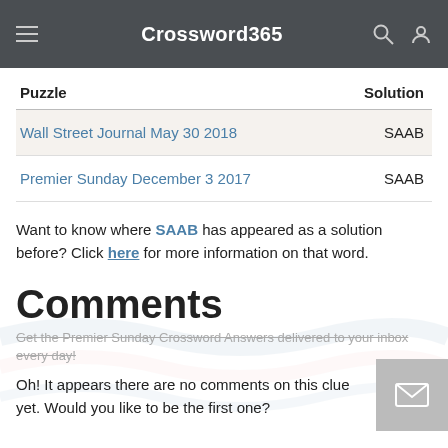Crossword365
| Puzzle | Solution |
| --- | --- |
| Wall Street Journal May 30 2018 | SAAB |
| Premier Sunday December 3 2017 | SAAB |
Want to know where SAAB has appeared as a solution before? Click here for more information on that word.
Comments
Get the Premier Sunday Crossword Answers delivered to your inbox every day!
Oh! It appears there are no comments on this clue yet. Would you like to be the first one?